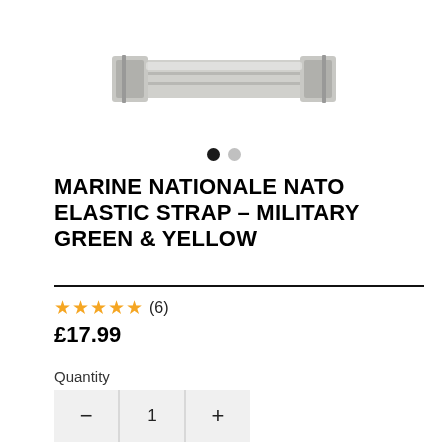[Figure (photo): Product photo of a NATO elastic watch strap with metal buckle hardware, partially visible at top of page]
MARINE NATIONALE NATO ELASTIC STRAP – MILITARY GREEN & YELLOW
★★★★★ (6)
£17.99
Quantity
1
Color